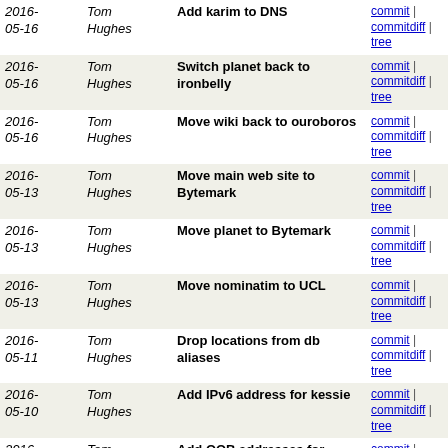| Date | Author | Message | Links |
| --- | --- | --- | --- |
| 2016-05-16 | Tom Hughes | Add karim to DNS | commit | commitdiff | tree |
| 2016-05-16 | Tom Hughes | Switch planet back to ironbelly | commit | commitdiff | tree |
| 2016-05-16 | Tom Hughes | Move wiki back to ouroboros | commit | commitdiff | tree |
| 2016-05-13 | Tom Hughes | Move main web site to Bytemark | commit | commitdiff | tree |
| 2016-05-13 | Tom Hughes | Move planet to Bytemark | commit | commitdiff | tree |
| 2016-05-13 | Tom Hughes | Move nominatim to UCL | commit | commitdiff | tree |
| 2016-05-11 | Tom Hughes | Drop locations from db aliases | commit | commitdiff | tree |
| 2016-05-10 | Tom Hughes | Add IPv6 address for kessie | commit | commitdiff | tree |
| 2016-05-09 | Tom Hughes | Add OOB addresses for Bytemark machines | commit | commitdiff | tree |
| 2016-05-09 | Tom Hughes | Set internal address for grisu | commit | commitdiff | tree |
| 2016-05-09 | Tom Hughes | Fix names for thorn-04 and thorn-05 | commit | commitdiff | tree |
| 2016-05-09 | Tom Hughes | Add DNS entries for machines at Bytemark | commit | commitdiff | tree |
| 2016-05-06 | Tom Hughes | Revert "Point nominatim at pummelzacken" | commit | commitdiff | tree |
| 2016- | Tom | Point nominatim at pummelzacken | commit | commitdiff |